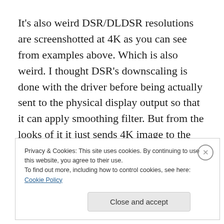It's also weird DSR/DLDSR resolutions are screenshotted at 4K as you can see from examples above. Which is also weird. I thought DSR's downscaling is done with the driver before being actually sent to the physical display output so that it can apply smoothing filter. But from the looks of it it just sends 4K image to the actual physical output. Monitor displays at 1440p because it's what it is and can't
Privacy & Cookies: This site uses cookies. By continuing to use this website, you agree to their use.
To find out more, including how to control cookies, see here: Cookie Policy
Close and accept